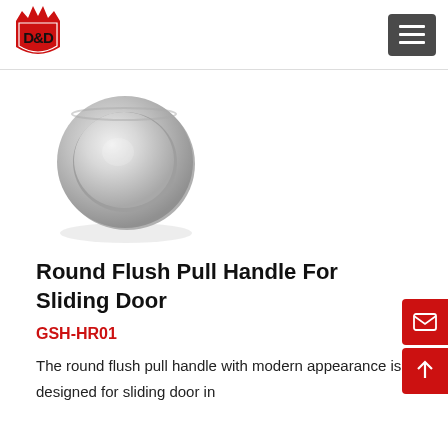[Figure (logo): D&D brand logo with red crown and shield, black D&D text]
[Figure (photo): Round flush pull handle for sliding door, brushed stainless steel, circular recessed cup shape, viewed at slight angle]
Round Flush Pull Handle For Sliding Door
GSH-HR01
The round flush pull handle with modern appearance is designed for sliding door in